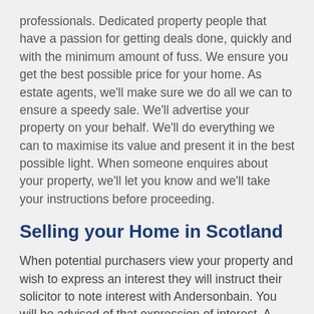professionals. Dedicated property people that have a passion for getting deals done, quickly and with the minimum amount of fuss. We ensure you get the best possible price for your home. As estate agents, we'll make sure we do all we can to ensure a speedy sale. We'll advertise your property on your behalf. We'll do everything we can to maximise its value and present it in the best possible light. When someone enquires about your property, we'll let you know and we'll take your instructions before proceeding.
Selling your Home in Scotland
When potential purchasers view your property and wish to express an interest they will instruct their solicitor to note interest with Andersonbain. You will be advised of that expression of interest. A note of interest does not have